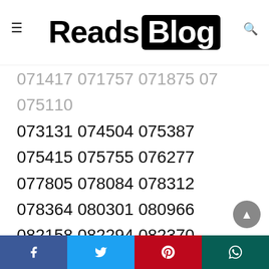Reads Blog
071417 071757 071875 07... ...075110
073131 074504 075387 075415 075755 076277
077805 078084 078312 078364 080301 080966
082158 082294 082370 082647 082774 083992
084011 084198 084588 084756 085940 085944
087846 090506 090744 091550 092615 092918
093126 093611 093708 093713 093804 095501
095504 095510 096616 096748 097028 099188
099620 099752 099953 101399 101401 101789
102010 102198 102354 102505 102606 102871
102961 103108 103226 103427 103593 104427
104627 106107 106417 106589 107297 107651
Facebook Twitter Pinterest WhatsApp